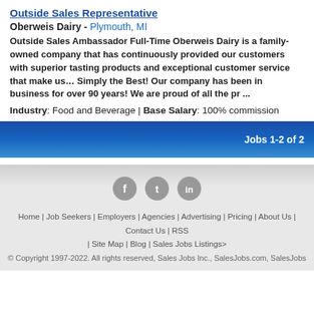Outside Sales Representative
Oberweis Dairy - Plymouth, MI
Outside Sales Ambassador Full-Time Oberweis Dairy is a family- owned company that has continuously provided our customers with superior tasting products and exceptional customer service that make us... Simply the Best! Our company has been in business for over 90 years! We are proud of all the pr ...
Industry: Food and Beverage | Base Salary: 100% commission
Jobs 1-2 of 2
[Figure (other): Social media icons: Facebook, Twitter, LinkedIn]
Home | Job Seekers | Employers | Agencies | Advertising | Pricing | About Us | Contact Us | RSS | Site Map | Blog | Sales Jobs Listings> © Copyright 1997-2022. All rights reserved, Sales Jobs Inc., SalesJobs.com, SalesJobs